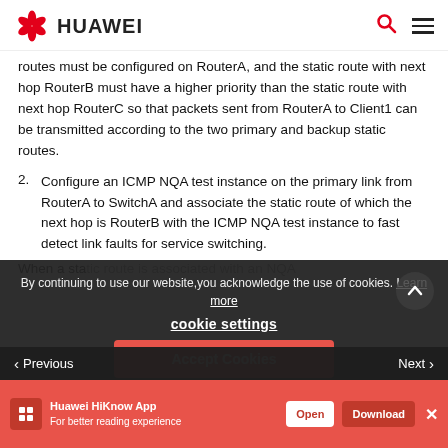HUAWEI
routes must be configured on RouterA, and the static route with next hop RouterB must have a higher priority than the static route with next hop RouterC so that packets sent from RouterA to Client1 can be transmitted according to the two primary and backup static routes.
2. Configure an ICMP NQA test instance on the primary link from RouterA to SwitchA and associate the static route of which the next hop is RouterB with the ICMP NQA test instance to fast detect link faults for service switching.
When a static route is associated with an NQA
By continuing to use our website, you acknowledge the use of cookies. Learn more
cookie settings
Accept Cookies
Reject Cookies
Previous
Next
Huawei HiKnow App
For better reading experience